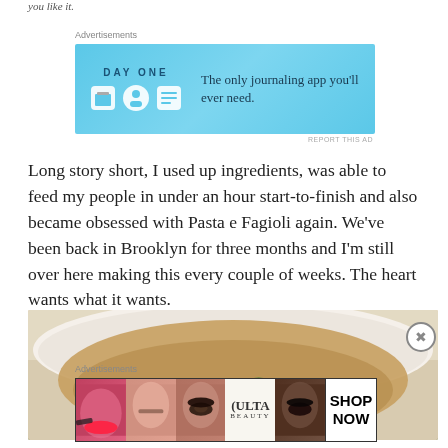you like it.
[Figure (infographic): Day One journaling app advertisement banner with blue background, app icons, and text 'The only journaling app you'll ever need.']
Long story short, I used up ingredients, was able to feed my people in under an hour start-to-finish and also became obsessed with Pasta e Fagioli again. We've been back in Brooklyn for three months and I'm still over here making this every couple of weeks. The heart wants what it wants.
[Figure (photo): Close-up photo of a white bowl containing Pasta e Fagioli soup with beans and pasta in broth]
[Figure (infographic): Ulta Beauty advertisement banner showing makeup imagery with 'SHOP NOW' button]